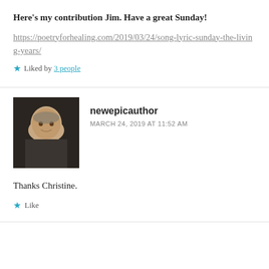Here's my contribution Jim. Have a great Sunday!
https://poetryforhealing.com/2019/03/24/song-lyric-sunday-the-living-years/
Liked by 3 people
newepicauthor
MARCH 24, 2019 AT 11:52 AM
Thanks Christine.
Like